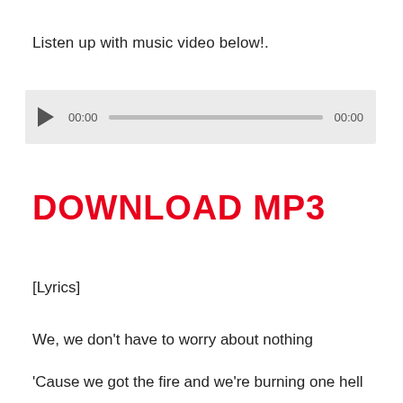Listen up with music video below!.
[Figure (other): Audio player widget with play button, time display 00:00, progress bar, and end time 00:00]
DOWNLOAD MP3
[Lyrics]
We, we don't have to worry about nothing
'Cause we got the fire and we're burning one hell